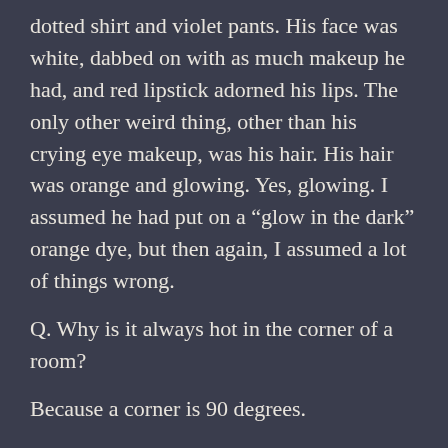dotted shirt and violet pants. His face was white, dabbed on with as much makeup he had, and red lipstick adorned his lips. The only other weird thing, other than his crying eye makeup, was his hair. His hair was orange and glowing. Yes, glowing. I assumed he had put on a “glow in the dark” orange dye, but then again, I assumed a lot of things wrong.
Q. Why is it always hot in the corner of a room?
Because a corner is 90 degrees.
Q. What did the bartender say to the burger that walked into a bar?
Sorry, we don’t serve food here.
After each joke, Ponmalio looked at us from the stage and smiled. Sometimes he even laughed. But no one in